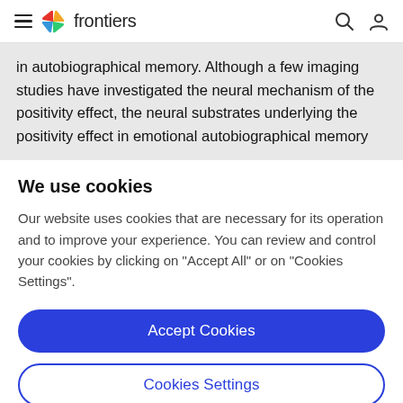frontiers
in autobiographical memory. Although a few imaging studies have investigated the neural mechanism of the positivity effect, the neural substrates underlying the positivity effect in emotional autobiographical memory
We use cookies
Our website uses cookies that are necessary for its operation and to improve your experience. You can review and control your cookies by clicking on "Accept All" or on "Cookies Settings".
Accept Cookies
Cookies Settings